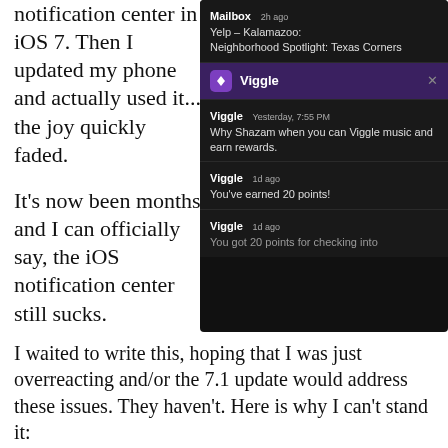notification center in iOS 7. Then I updated my phone and actually used it... the joy quickly faded.
[Figure (screenshot): iOS notification center screenshot showing Mailbox app notification (Yelp - Kalamazoo: Neighborhood Spotlight: Texas Corners), Viggle header row, and three Viggle notifications: 'Why Shazam when you can Viggle music and earn rewards.' (Yesterday, 7:55 PM), 'You've earned 20 points!' (1d ago), 'You got 20 points for checking into...' (1d ago). Dark background theme.]
It's now been months and I can officially say, the iOS notification center still sucks.
I waited to write this, hoping that I was just overreacting and/or the 7.1 update would address these issues. They haven't. Here is why I can't stand it: